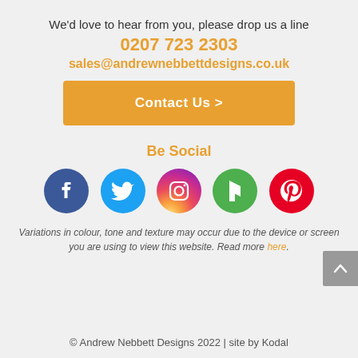We'd love to hear from you, please drop us a line
0207 723 2303
sales@andrewnebbettdesigns.co.uk
Contact Us >
Be Social
[Figure (illustration): Five social media icons: Facebook (dark blue), Twitter (light blue), Instagram (pink/purple gradient circle), Houzz (green), Pinterest (red)]
Variations in colour, tone and texture may occur due to the device or screen you are using to view this website. Read more here.
© Andrew Nebbett Designs 2022 | site by Kodal